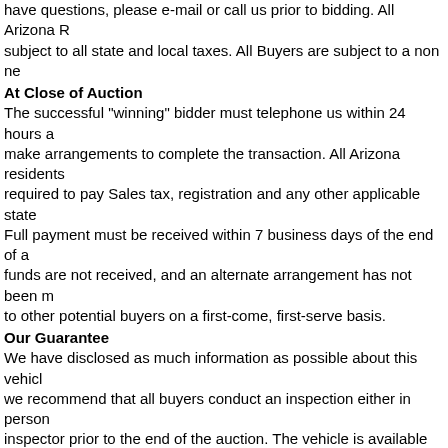have questions, please e-mail or call us prior to bidding. All Arizona R subject to all state and local taxes. All Buyers are subject to a non ne
At Close of Auction
The successful "winning" bidder must telephone us within 24 hours a make arrangements to complete the transaction. All Arizona residents required to pay Sales tax, registration and any other applicable state Full payment must be received within 7 business days of the end of a funds are not received, and an alternate arrangement has not been m to other potential buyers on a first-come, first-serve basis.
Our Guarantee
We have disclosed as much information as possible about this vehicl we recommend that all buyers conduct an inspection either in person inspector prior to the end of the auction. The vehicle is available for i not perform an inspection you assume all of the risk and assumptions vehicle available for inspection and inspectors virtually anytime. Plea you and your independent inspector. Discovery of problems/issues m sole responsibility of buyer.
Shipping
We value your business and want you to be completely satisfied with delivery. As a value added service we will assist with shipping arrange costs. We do not have any affiliation with, or interest in, any transport should be addressed directly with them.
Disclaimer
All vehicles are sold As Is, with no warranties expressed or implied, b manuals only if pictured in the included photos or if stated in the ad. A become more obvious under close inspection, such small chips or ni scuffs, and other indications of normal wear and tear. We will not and issues.